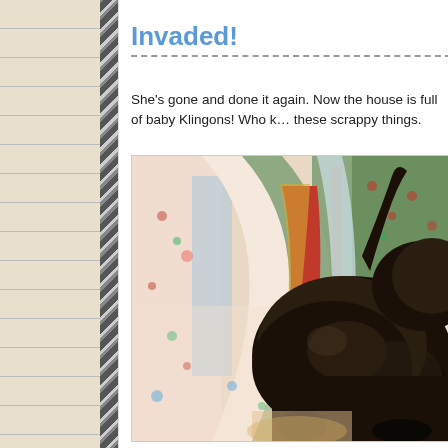Invaded!
She's gone and done it again. Now the house is full of baby Klingons! Who knew she'd actually agree to foster these scrappy things.
[Figure (photo): A dark/black cat lying on a colorful patchwork quilt with floral fabric patterns in pink, green, red, cream and blue tones.]